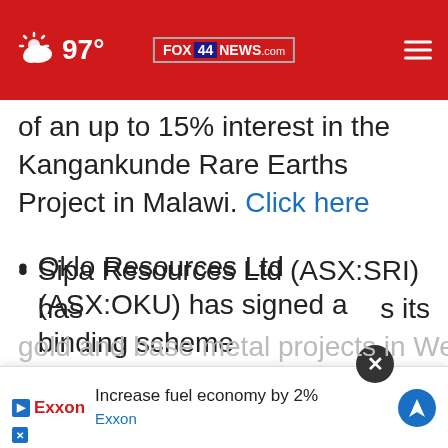97° FOX 44 NEWS.com
of an up to 15% interest in the Kangankunde Rare Earths Project in Malawi. Click here
Oklo Resources Ltd (ASX:OKU) has signed a binding scheme implementation deed (SID) under which B2Gold Corp will – subject to conditions – acquire all fully paid ordinary shares in Oklo via a board-recommended scheme of arrangement. Click here
Sipa Resources Ltd (ASX:SRI) has … s its gold and base metal projects in Western
[Figure (screenshot): Exxon advertisement banner: 'Increase fuel economy by 2%' with Exxon logo and navigation icon, and close (X) button]